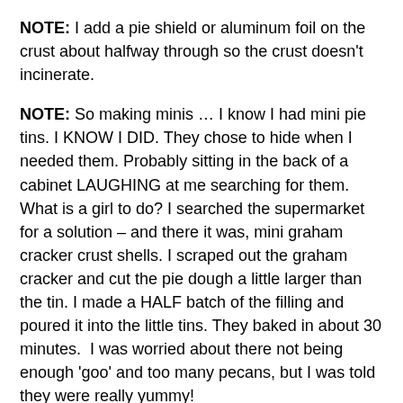NOTE: I add a pie shield or aluminum foil on the crust about halfway through so the crust doesn't incinerate.
NOTE: So making minis … I know I had mini pie tins. I KNOW I DID. They chose to hide when I needed them. Probably sitting in the back of a cabinet LAUGHING at me searching for them. What is a girl to do? I searched the supermarket for a solution – and there it was, mini graham cracker crust shells. I scraped out the graham cracker and cut the pie dough a little larger than the tin. I made a HALF batch of the filling and poured it into the little tins. They baked in about 30 minutes.  I was worried about there not being enough 'goo' and too many pecans, but I was told they were really yummy!
For those of you still out there, thank you for being patient! It's nice to be back!